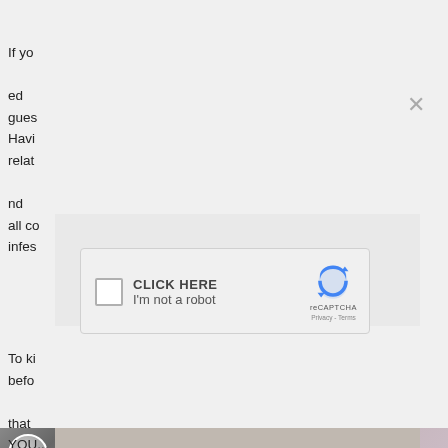If yo...ed gues... Havi... relat...nd all co... infes...
[Figure (screenshot): reCAPTCHA widget with checkbox, CLICK HERE / I'm not a robot text, reCAPTCHA logo, Privacy and Terms links, and a close X button overlay on a webpage]
[Figure (photo): Partial photo strip showing a circular avatar on the left and a bedroom scene on the right]
To ki... befo... that YOU...hall...